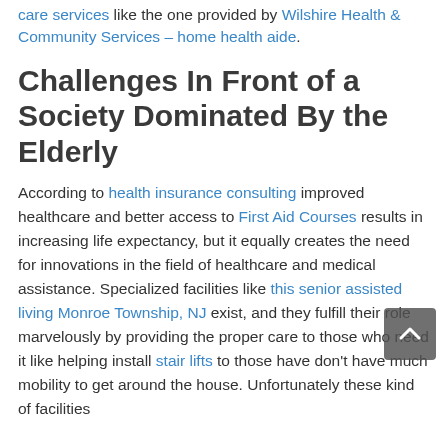care services like the one provided by Wilshire Health & Community Services – home health aide.
Challenges In Front of a Society Dominated By the Elderly
According to health insurance consulting improved healthcare and better access to First Aid Courses results in increasing life expectancy, but it equally creates the need for innovations in the field of healthcare and medical assistance. Specialized facilities like this senior assisted living Monroe Township, NJ exist, and they fulfill their role marvelously by providing the proper care to those who need it like helping install stair lifts to those have don't have much mobility to get around the house. Unfortunately these kind of facilities